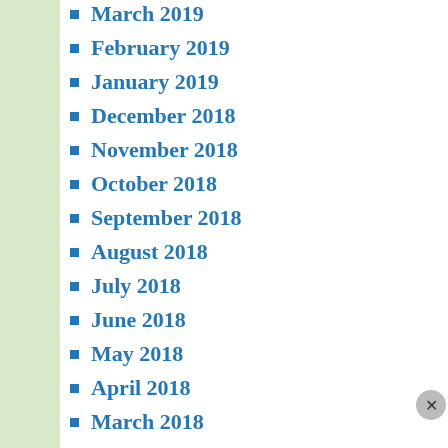March 2019
February 2019
January 2019
December 2018
November 2018
October 2018
September 2018
August 2018
July 2018
June 2018
May 2018
April 2018
March 2018
February 2018
January 2018
December 2017
November 2017
October 2017
Advertisements
[Figure (photo): MAC cosmetics advertisement showing lipsticks with MAC logo and SHOP NOW button]